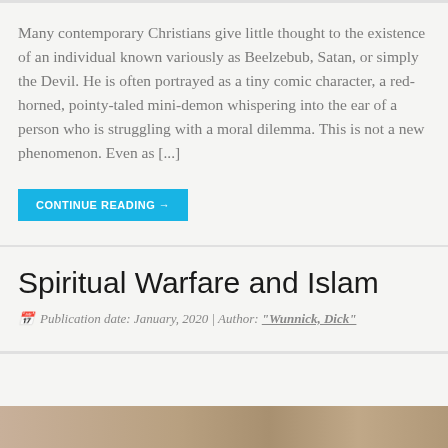Many contemporary Christians give little thought to the existence of an individual known variously as Beelzebub, Satan, or simply the Devil. He is often portrayed as a tiny comic character, a red-horned, pointy-taled mini-demon whispering into the ear of a person who is struggling with a moral dilemma. This is not a new phenomenon. Even as [...]
CONTINUE READING →
Spiritual Warfare and Islam
Publication date: January, 2020 | Author: "Wunnick, Dick"
[Figure (photo): Partial image strip visible at the bottom of the page]